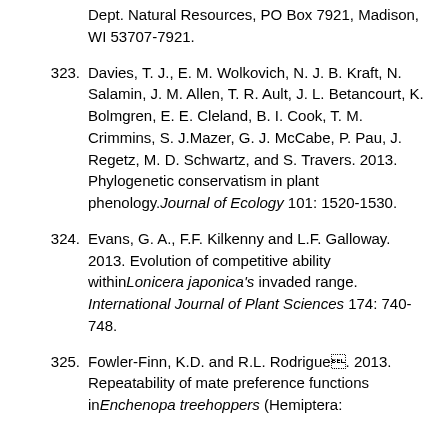Dept. Natural Resources, PO Box 7921, Madison, WI 53707-7921.
323. Davies, T. J., E. M. Wolkovich, N. J. B. Kraft, N. Salamin, J. M. Allen, T. R. Ault, J. L. Betancourt, K. Bolmgren, E. E. Cleland, B. I. Cook, T. M. Crimmins, S. J.Mazer, G. J. McCabe, P. Pau, J. Regetz, M. D. Schwartz, and S. Travers. 2013. Phylogenetic conservatism in plant phenology. Journal of Ecology 101: 1520-1530.
324. Evans, G. A., F.F. Kilkenny and L.F. Galloway. 2013. Evolution of competitive ability within Lonicera japonica's invaded range. International Journal of Plant Sciences 174: 740-748.
325. Fowler-Finn, K.D. and R.L. Rodriguez. 2013. Repeatability of mate preference functions in Enchenopa treehoppers (Hemiptera: